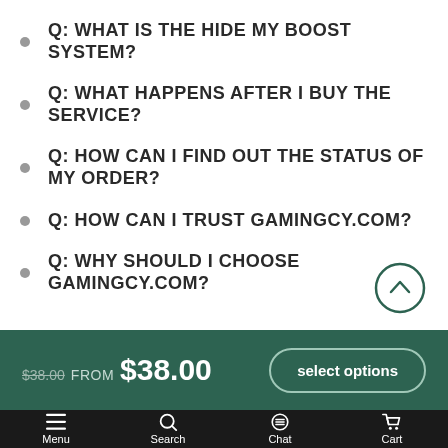Q: WHAT IS THE HIDE MY BOOST SYSTEM?
Q: WHAT HAPPENS AFTER I BUY THE SERVICE?
Q: HOW CAN I FIND OUT THE STATUS OF MY ORDER?
Q: HOW CAN I TRUST GAMINGCY.COM?
Q: WHY SHOULD I CHOOSE GAMINGCY.COM?
$38.00 FROM $38.00  select options
Menu  Search  Chat  Cart